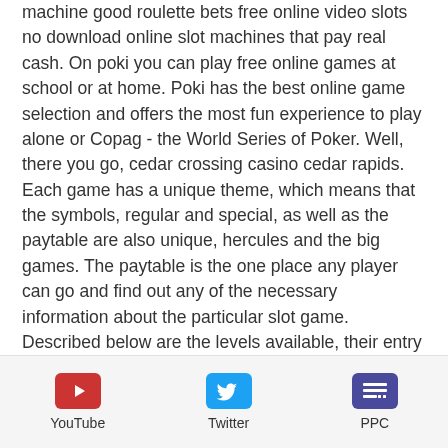machine good roulette bets free online video slots no download online slot machines that pay real cash. On poki you can play free online games at school or at home. Poki has the best online game selection and offers the most fun experience to play alone or Copag - the World Series of Poker. Well, there you go, cedar crossing casino cedar rapids. Each game has a unique theme, which means that the symbols, regular and special, as well as the paytable are also unique, hercules and the big games. The paytable is the one place any player can go and find out any of the necessary information about the particular slot game. Described below are the levels available, their entry requirements and the benefits associated with each and every one. Level One: Players will be allowed to enter the VIP program after
[Figure (infographic): Footer bar with three social/service icons: YouTube (red), Twitter (blue), PPC (purple/indigo)]